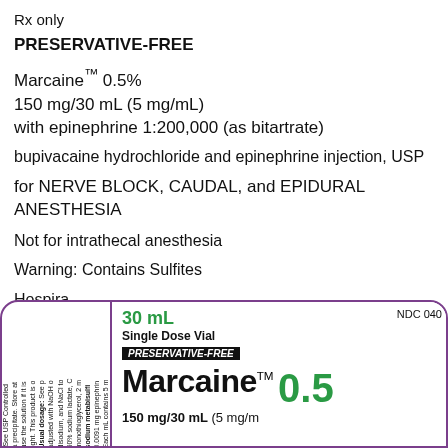Rx only
PRESERVATIVE-FREE
Marcaine™ 0.5%
150 mg/30 mL (5 mg/mL)
with epinephrine 1:200,000 (as bitartrate)
bupivacaine hydrochloride and epinephrine injection, USP
for NERVE BLOCK, CAUDAL, and EPIDURAL ANESTHESIA
Not for intrathecal anesthesia
Warning: Contains Sulfites
Hospira
[Figure (other): Drug vial label for Marcaine 0.5%, 30 mL Single Dose Vial, Preservative-Free, with vertical rotated text on left and brand information on right. NDC 040 visible. Shows Marcaine TM 0.5% in large text, 150 mg/30 mL (5 mg/mL), sodium metabisulfite ingredients, usual dosage information.]